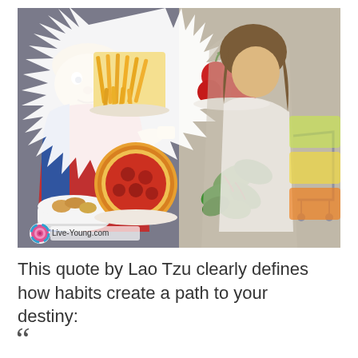[Figure (photo): Collage image showing contrast between unhealthy and healthy food choices. Left side: overweight man eating chips/junk food with a bowl of snacks and french fries, pizza. Right side: woman shopping for healthy produce in a grocery store with tomatoes, spinach/greens. Center has a starburst divider. Logo 'Live-Young.com' in bottom left corner.]
This quote by Lao Tzu clearly defines how habits create a path to your destiny: